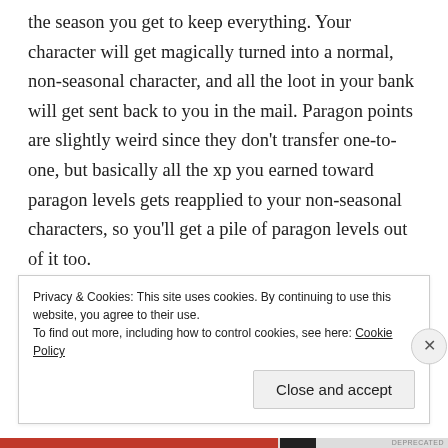the season you get to keep everything. Your character will get magically turned into a normal, non-seasonal character, and all the loot in your bank will get sent back to you in the mail. Paragon points are slightly weird since they don't transfer one-to-one, but basically all the xp you earned toward paragon levels gets reapplied to your non-seasonal characters, so you'll get a pile of paragon levels out of it too.
Privacy & Cookies: This site uses cookies. By continuing to use this website, you agree to their use. To find out more, including how to control cookies, see here: Cookie Policy